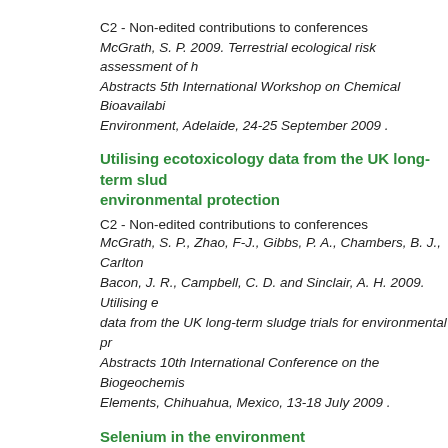C2 - Non-edited contributions to conferences
McGrath, S. P. 2009. Terrestrial ecological risk assessment of heavy metals. Abstracts 5th International Workshop on Chemical Bioavailability in the Environment, Adelaide, 24-25 September 2009 .
Utilising ecotoxicology data from the UK long-term sludge trials for environmental protection
C2 - Non-edited contributions to conferences
McGrath, S. P., Zhao, F-J., Gibbs, P. A., Chambers, B. J., Carlton, R., Bacon, J. R., Campbell, C. D. and Sinclair, A. H. 2009. Utilising ecotoxicology data from the UK long-term sludge trials for environmental protection. Abstracts 10th International Conference on the Biogeochemistry of Trace Elements, Chihuahua, Mexico, 13-18 July 2009 .
Selenium in the environment
C2 - Non-edited contributions to conferences
McGrath, S. P. 2009. Selenium in the environment. Banuelos, G., Yin, Y. and Lin, Z. (ed.) Abstracts 1st International Conference on Selenium in the Environment and Human Health, Suzhou, China, 18-21 October 2009. University of Science and Technology of China Press, Beijing.